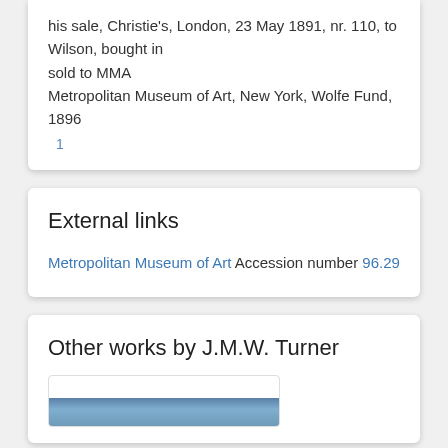his sale, Christie's, London, 23 May 1891, nr. 110, to Wilson, bought in
sold to MMA
Metropolitan Museum of Art, New York, Wolfe Fund, 1896
1
External links
Metropolitan Museum of Art Accession number 96.29
Other works by J.M.W. Turner
[Figure (photo): Thumbnail image of a painting by J.M.W. Turner, partially visible at the bottom of the page]